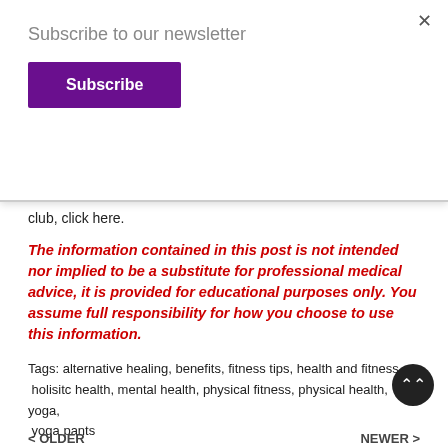Subscribe to our newsletter
Subscribe
club, click here.
The information contained in this post is not intended nor implied to be a substitute for professional medical advice, it is provided for educational purposes only. You assume full responsibility for how you choose to use this information.
Tags:  alternative healing,  benefits,  fitness tips,  health and fitness,  holisitc health,  mental health,  physical fitness,  physical health,  yoga,  yoga pants
Share
< OLDER
NEWER >